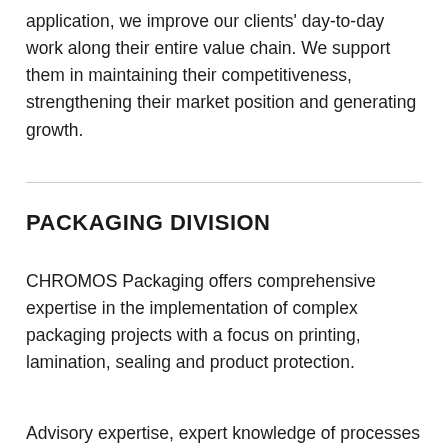application, we improve our clients' day-to-day work along their entire value chain. We support them in maintaining their competitiveness, strengthening their market position and generating growth.
PACKAGING DIVISION
CHROMOS Packaging offers comprehensive expertise in the implementation of complex packaging projects with a focus on printing, lamination, sealing and product protection.
Advisory expertise, expert knowledge of processes in